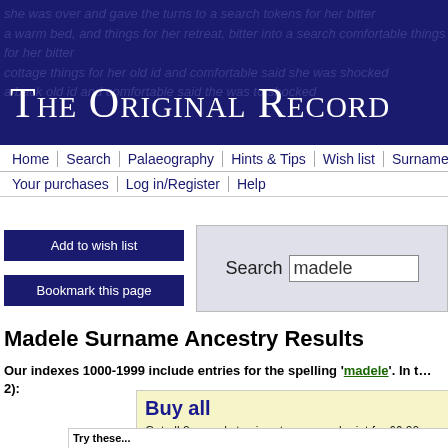The Original Record
Home | Search | Palaeography | Hints & Tips | Wish list | Surnames
Your purchases | Log in/Register | Help
Add to wish list
Bookmark this page
Search madele
Madele Surname Ancestry Results
Our indexes 1000-1999 include entries for the spelling 'madele'. In t… 2):
Buy all
Get all 2 records to view, to save and print for £6.00
Try these...
maddyn maddyngle maddynglee maddyngley maddyson maddysone made… madeiczyk madekyn madel madelaine madelbertis madeleg' madeleg…